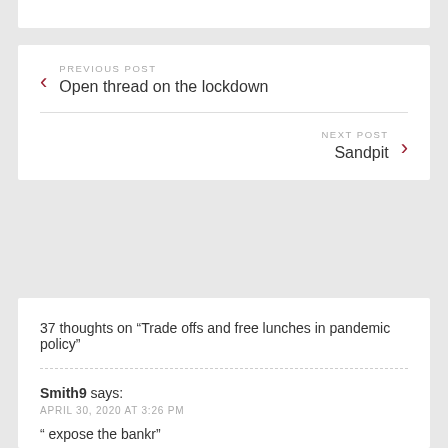PREVIOUS POST
Open thread on the lockdown
NEXT POST
Sandpit
37 thoughts on “Trade offs and free lunches in pandemic policy”
Smith9 says:
APRIL 30, 2020 AT 3:26 PM
“ expose the bankr”